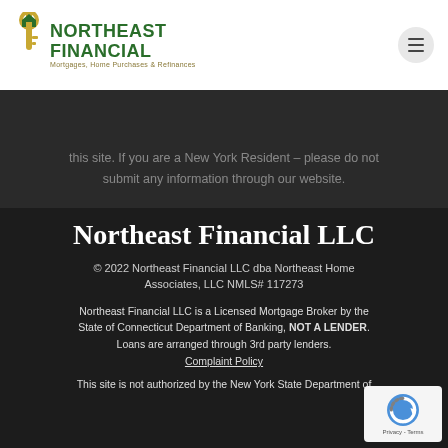[Figure (logo): Northeast Financial logo with golden key icon and green bold text 'NORTHEAST FINANCIAL' and subtitle 'Mortgages, Home Purchases & Refinances']
this site. If you are a New York Resident – please do not submit any information through our website.
Northeast Financial LLC
© 2022 Northeast Financial LLC dba Northeast Home Associates, LLC NMLS# 117273
Northeast Financial LLC is a Licensed Mortgage Broker by the State of Connecticut Department of Banking, NOT A LENDER. Loans are arranged through 3rd party lenders. Complaint Policy
This site is not authorized by the New York State Department of